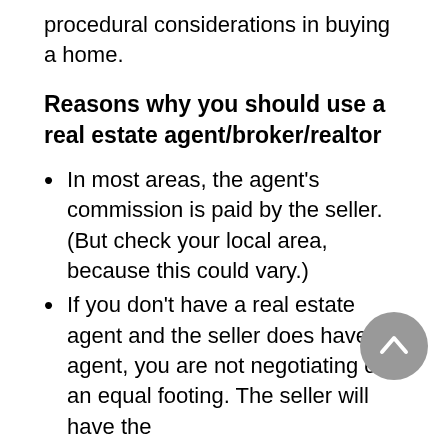procedural considerations in buying a home.
Reasons why you should use a real estate agent/broker/realtor
In most areas, the agent's commission is paid by the seller. (But check your local area, because this could vary.)
If you don't have a real estate agent and the seller does have an agent, you are not negotiating on an equal footing. The seller will have the